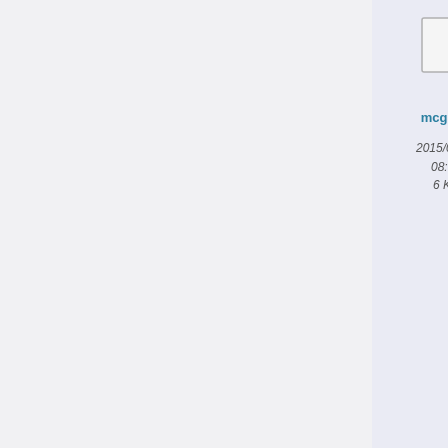[Figure (screenshot): File browser showing two file entries: 'mcglm.r' (2015/04/06 08:15, 6 KB) shown as a blank document icon, and 'mglmm_mix...' (2021/02/22 19:57, 2.9 KB) shown as a TXT file icon. Partially visible second column with truncated filenames starting with 'mglm'. Left side shows a grey navigation panel.]